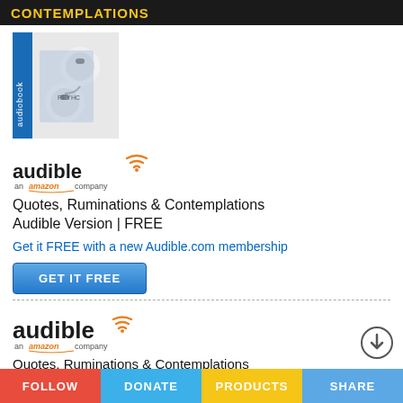CONTEMPLATIONS
[Figure (photo): Audiobook product image showing white earbuds/earphones with a book cover, overlaid with a blue vertical 'audiobook' label strip on the left side]
[Figure (logo): Audible logo — 'audible' in bold black text with orange wifi-style signal icon, 'an amazon company' subtitle]
Quotes, Ruminations & Contemplations
Audible Version | FREE
Get it FREE with a new Audible.com membership
[Figure (other): GET IT FREE button — blue gradient rounded rectangle button]
[Figure (logo): Audible logo — 'audible' in bold black text with orange wifi-style signal icon, 'an amazon company' subtitle]
Quotes, Ruminations & Contemplations
Audible Version | $24.95
[Figure (other): Download/arrow circle button icon on right side]
FOLLOW | DONATE | PRODUCTS | SHARE